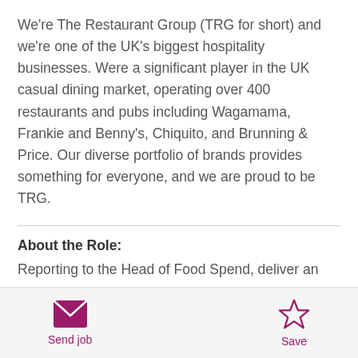We're The Restaurant Group (TRG for short) and we're one of the UK's biggest hospitality businesses. Were a significant player in the UK casual dining market, operating over 400 restaurants and pubs including Wagamama, Frankie and Benny's, Chiquito, and Brunning & Price. Our diverse portfolio of brands provides something for everyone, and we are proud to be TRG.
About the Role:
Reporting to the Head of Food Spend, deliver an
Send job | Save